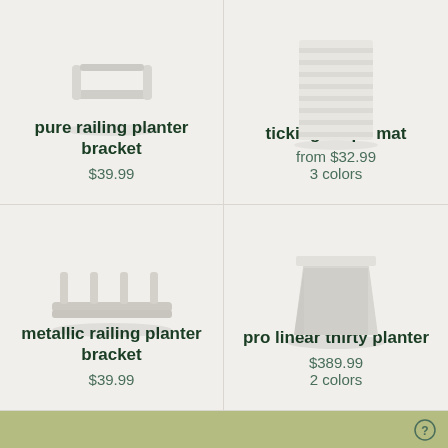[Figure (illustration): Pure railing planter bracket - white/light gray metal bracket product image]
pure railing planter bracket
$39.99
[Figure (illustration): Ticking stripe mat - striped fabric/material product image]
ticking stripe mat
from $32.99
3 colors
[Figure (illustration): Metallic railing planter bracket - light gray metal bracket with multiple prongs]
metallic railing planter bracket
$39.99
[Figure (illustration): Pro linear thirty planter - light gray large square planter pot]
pro linear thirty planter
$389.99
2 colors
?